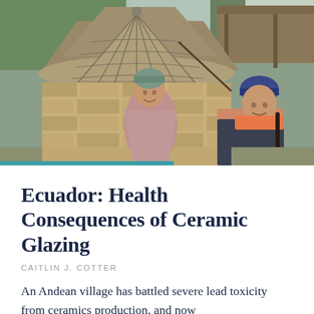[Figure (photo): Two indigenous Andean people standing in front of a traditional stone kiln with a conical stone-tiled roof. A man wearing a green beanie and pink/mauve shawl over a blue shirt stands on the left. A woman wearing a dark blue beanie and plaid jacket with orange shirt stands on the right. Background shows trees and a wooden-roofed structure. A teal horizontal bar appears at the bottom left of the image.]
Ecuador: Health Consequences of Ceramic Glazing
CAITLIN J. COTTER
An Andean village has battled severe lead toxicity from ceramics production, and now